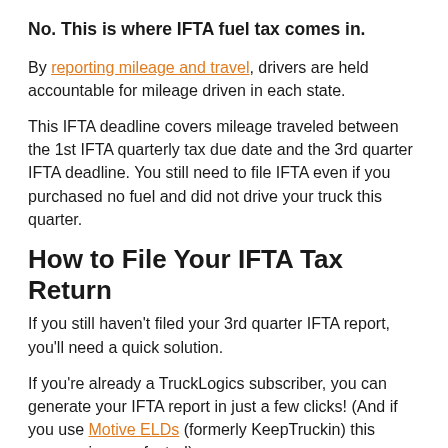No. This is where IFTA fuel tax comes in.
By reporting mileage and travel, drivers are held accountable for mileage driven in each state.
This IFTA deadline covers mileage traveled between the 1st IFTA quarterly tax due date and the 3rd quarter IFTA deadline. You still need to file IFTA even if you purchased no fuel and did not drive your truck this quarter.
How to File Your IFTA Tax Return
If you still haven't filed your 3rd quarter IFTA report, you'll need a quick solution.
If you're already a TruckLogics subscriber, you can generate your IFTA report in just a few clicks! (And if you use Motive ELDs (formerly KeepTruckin) this process is even faster!)